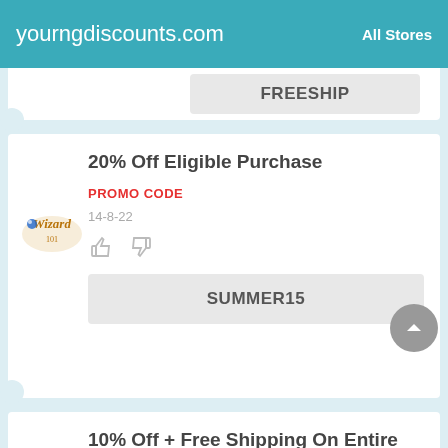yourngdiscounts.com   All Stores
FREESHIP
20% Off Eligible Purchase
PROMO CODE
14-8-22
SUMMER15
10% Off + Free Shipping On Entire Order Big & Small
DEAL
12-8-22